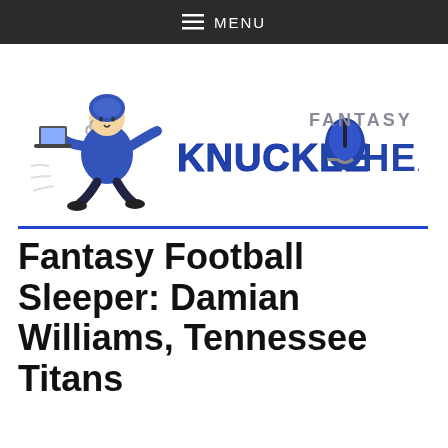MENU
[Figure (logo): Fantasy Knuckleheads logo: cartoon football player running with laptop, bold stylized text 'KNUCKLEHEADS' in blue with 'FANTASY' above in gray, football helmet graphic]
Fantasy Football Sleeper: Damian Williams, Tennessee Titans